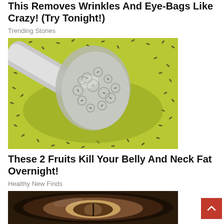This Removes Wrinkles And Eye-Bags Like Crazy! (Try Tonight!)
Trending Stories
[Figure (photo): Close-up photo of a spoon holding a gelatinous blob of chia seeds soaked in liquid, on a yellow-green background with scattered chia seeds]
These 2 Fruits Kill Your Belly And Neck Fat Overnight!
Healthy New Finds
[Figure (photo): Close-up photo of a sliced dark fruit (possibly avocado or black sapote) showing the inner flesh and seed cavity]